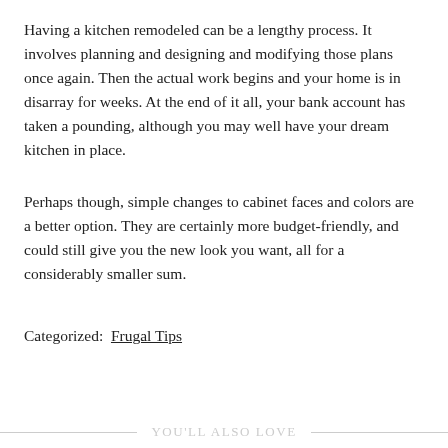Having a kitchen remodeled can be a lengthy process. It involves planning and designing and modifying those plans once again. Then the actual work begins and your home is in disarray for weeks. At the end of it all, your bank account has taken a pounding, although you may well have your dream kitchen in place.
Perhaps though, simple changes to cabinet faces and colors are a better option. They are certainly more budget-friendly, and could still give you the new look you want, all for a considerably smaller sum.
Categorized:  Frugal Tips
YOU'LL ALSO LOVE